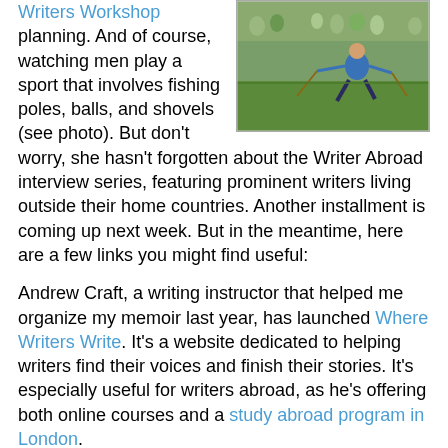Writers Workshop planning. And of course, watching men play a sport that involves fishing poles, balls, and shovels (see photo). But don't worry, she hasn't forgotten about the Writer Abroad interview series, featuring prominent writers living outside their home countries. Another installment is coming up next week. But in the meantime, here are a few links you might find useful:
[Figure (photo): Outdoor sports photo showing a person in a blue shirt playing a game with fishing poles on a grass field, with a crowd in the background]
Andrew Craft, a writing instructor that helped me organize my memoir last year, has launched Where Writers Write. It's a website dedicated to helping writers find their voices and finish their stories. It's especially useful for writers abroad, as he's offering both online courses and a study abroad program in London.
Expat author Robin Pascoe has completed a series of video lectures on the challenges of living abroad. Topics include identity loss for an accompanying spouse, traditional career challenges, and challenges involved in moveable marriages. You can view the video series here.